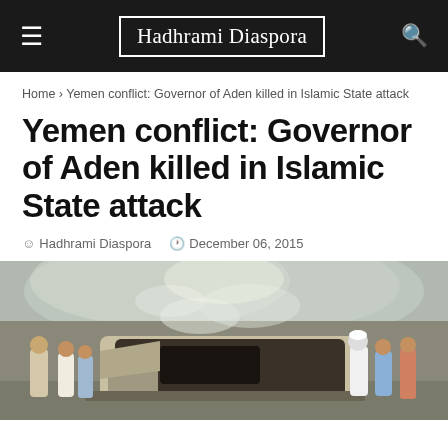Hadhrami Diaspora
Home > Yemen conflict: Governor of Aden killed in Islamic State attack
Yemen conflict: Governor of Aden killed in Islamic State attack
Hadhrami Diaspora   December 06, 2015
[Figure (photo): People gathered around a badly burned and destroyed vehicle, with smoke in the background. Several men in casual clothing stand near the wreckage of what appears to be a car after an explosion or attack.]